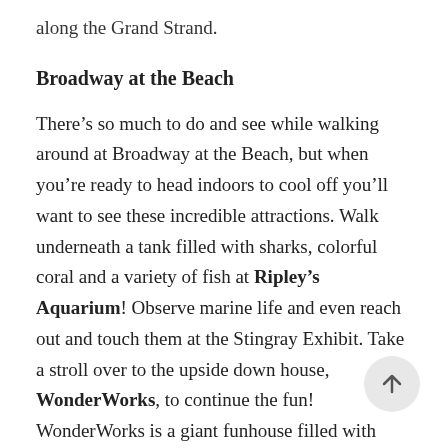along the Grand Strand.
Broadway at the Beach
There’s so much to do and see while walking around at Broadway at the Beach, but when you’re ready to head indoors to cool off you’ll want to see these incredible attractions. Walk underneath a tank filled with sharks, colorful coral and a variety of fish at Ripley’s Aquarium! Observe marine life and even reach out and touch them at the Stingray Exhibit. Take a stroll over to the upside down house, WonderWorks, to continue the fun! WonderWorks is a giant funhouse filled with activities and hands-on learning opportunities that you’ll enjoy at any age.